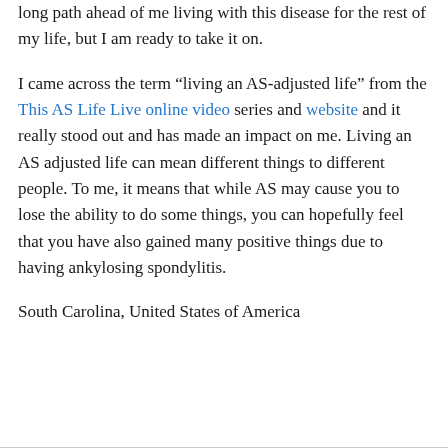long path ahead of me living with this disease for the rest of my life, but I am ready to take it on.
I came across the term “living an AS-adjusted life” from the This AS Life Live online video series and website and it really stood out and has made an impact on me. Living an AS adjusted life can mean different things to different people. To me, it means that while AS may cause you to lose the ability to do some things, you can hopefully feel that you have also gained many positive things due to having ankylosing spondylitis.
South Carolina, United States of America